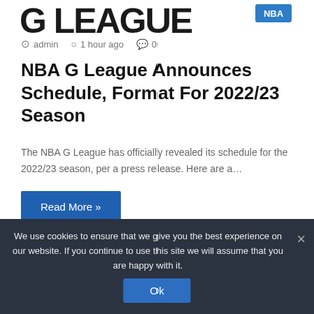[Figure (logo): G League logo with large letters partially visible, with NBA badge in blue top right corner]
admin  1 hour ago  0
NBA G League Announces Schedule, Format For 2022/23 Season
The NBA G League has officially revealed its schedule for the 2022/23 season, per a press release. Here are a…
Read More »
We use cookies to ensure that we give you the best experience on our website. If you continue to use this site we will assume that you are happy with it.
Ok